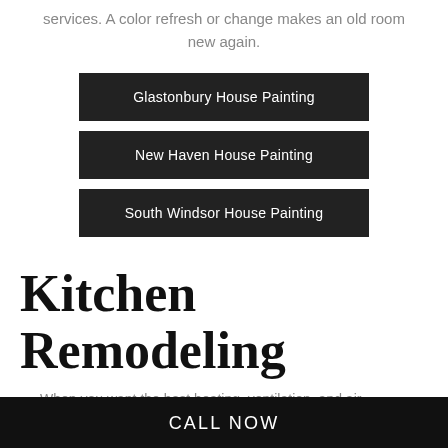services. A color refresh or change makes an old room new again.
Glastonbury House Painting
New Haven House Painting
South Windsor House Painting
Kitchen Remodeling
When you want the best heating, ventilation, and air conditioning services around, you want Complete Power
CALL NOW